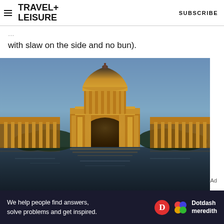TRAVEL+ LEISURE  SUBSCRIBE
with slaw on the side and no bun).
[Figure (photo): Palace of Fine Arts illuminated at night reflected in lagoon, San Francisco]
We help people find answers, solve problems and get inspired.  Dotdash meredith